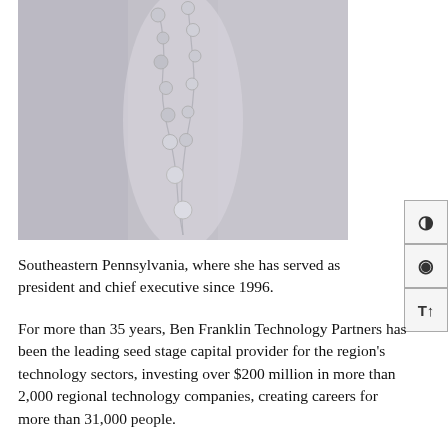[Figure (photo): Close-up photo of a person wearing a gray/lavender knit sweater with a long silver chain necklace with round disc pendants]
Southeastern Pennsylvania, where she has served as president and chief executive since 1996.
For more than 35 years, Ben Franklin Technology Partners has been the leading seed stage capital provider for the region's technology sectors, investing over $200 million in more than 2,000 regional technology companies, creating careers for more than 31,000 people.